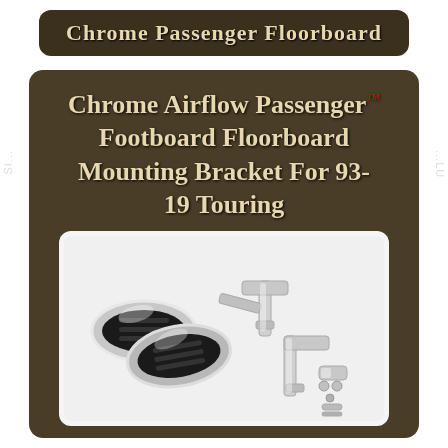Chrome Passenger Floorboard
Chrome Airflow Passenger Footboard Floorboard Mounting Bracket For 93-19 Touring
[Figure (photo): Chrome airflow passenger footboards with mounting brackets — two oval chrome footboard platforms with black grip inserts on the left, and chrome bracket hardware on the right, displayed on white background]